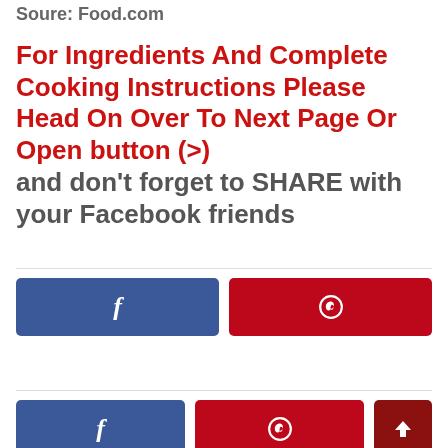Soure: Food.com
For Ingredients And Complete Cooking Instructions Please Head On Over To Next Page Or Open button (>) and don't forget to SHARE with your Facebook friends
[Figure (other): Two social share buttons: Facebook (blue) and Pinterest (red)]
[Figure (other): Two social share buttons at bottom: Facebook (blue), Pinterest (red), and up arrow (dark red)]